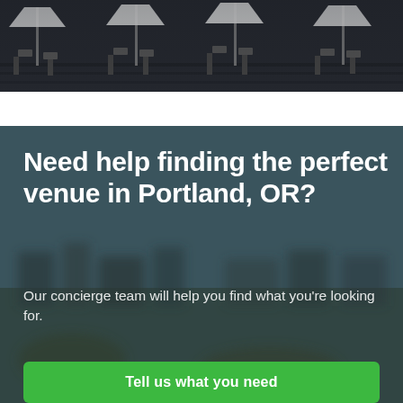[Figure (photo): Dark photo showing outdoor patio furniture with white umbrellas on a wooden deck, partial view at top of page]
[Figure (photo): Blurred background photo of a waterfront or outdoor venue scene with an overlay, containing a call-to-action section]
Need help finding the perfect venue in Portland, OR?
Our concierge team will help you find what you're looking for.
Tell us what you need